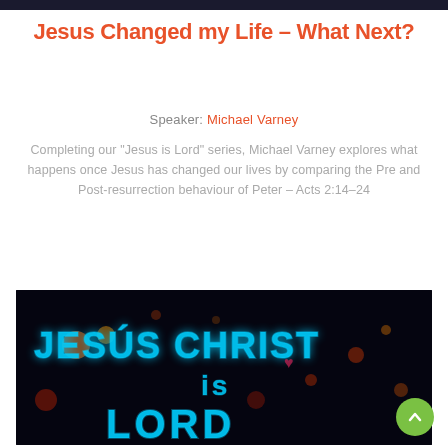Jesus Changed my Life – What Next?
Speaker: Michael Varney
Completing our "Jesus is Lord" series, Michael Varney explores what happens once Jesus has changed our lives by comparing the Pre and Post-resurrection behaviour of Peter – Acts 2:14–24
[Figure (photo): Neon sign reading 'JESUS CHRIST is LORD' in blue neon lettering against a dark background with bokeh lights]